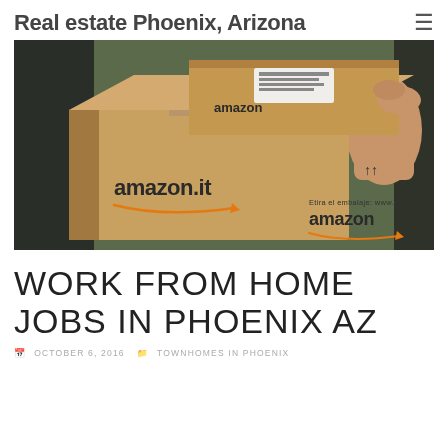Real estate Phoenix, Arizona
[Figure (photo): A person holding multiple Amazon branded cardboard boxes and packages, with amazon.it and amazon logos visible on the boxes.]
WORK FROM HOME JOBS IN PHOENIX AZ
OCTOBER 6, 2016   TOWNHOMES IN PHOENIX